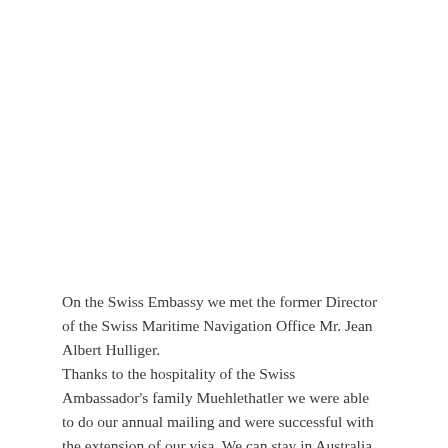On the Swiss Embassy we met the former Director of the Swiss Maritime Navigation Office Mr. Jean Albert Hulliger.
Thanks to the hospitality of the Swiss Ambassador's family Muehlethatler we were able to do our annual mailing and were successful with the extension of our visa. We can stay in Australia till the 14th of October